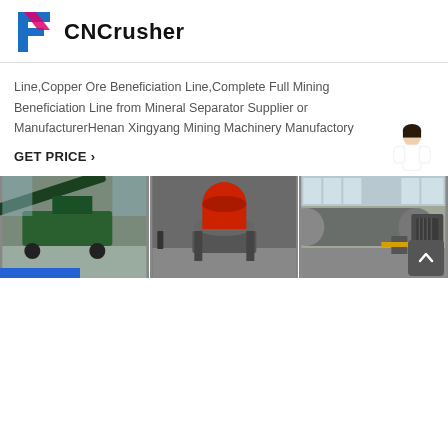CNCrusher
Line,Copper Ore Beneficiation Line,Complete Full Mining Beneficiation Line from Mineral Separator Supplier or ManufacturerHenan Xingyang Mining Machinery Manufactory
GET PRICE >
[Figure (photo): Three industrial mining machines/crushers in a workshop or factory setting]
[Figure (logo): CNCrusher stylized F logo in blue and pink/red]